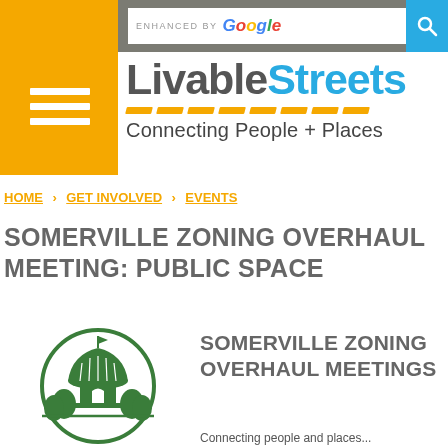[Figure (screenshot): LivableStreets website header with orange left panel, hamburger menu icon, Google enhanced search bar, logo text 'LivableStreets' with orange dashes, tagline 'Connecting People + Places']
HOME › GET INVOLVED › EVENTS
SOMERVILLE ZONING OVERHAUL MEETING: PUBLIC SPACE
[Figure (logo): Green circular illustration of Somerville city hall/gazebo with trees]
SOMERVILLE ZONING OVERHAUL MEETINGS
Connecting people and places...